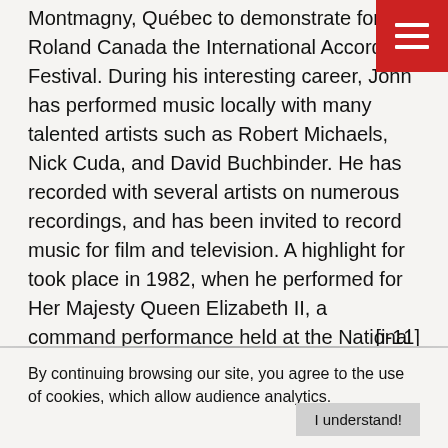Montmagny, Québec to demonstrate for Roland Canada the International Accordion Festival. During his interesting career, John has performed music locally with many talented artists such as Robert Michaels, Nick Cuda, and David Buchbinder. He has recorded with several artists on numerous recordings, and has been invited to record music for film and television. A highlight for took place in 1982, when he performed for Her Majesty Queen Elizabeth II, a command performance held at the National Arts Centre, in Ottawa.
[i-11]
By continuing browsing our site, you agree to the use of cookies, which allow audience analytics.